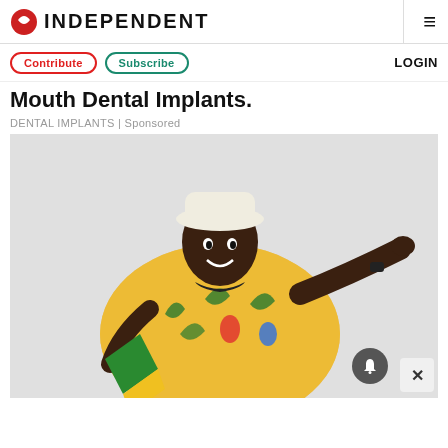INDEPENDENT
Contribute | Subscribe | LOGIN
Mouth Dental Implants.
DENTAL IMPLANTS | Sponsored
[Figure (photo): A man wearing a white bucket hat and a yellow tropical print short-sleeve shirt, smiling and pointing to the right with one hand while holding a green and yellow flag with the other hand, posed against a light gray background.]